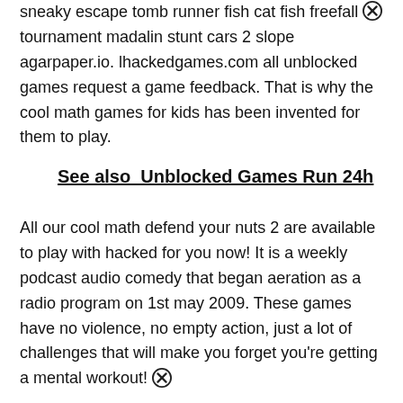sneaky escape tomb runner fish cat fish freefall tournament madalin stunt cars 2 slope agarpaper.io. lhackedgames.com all unblocked games request a game feedback. That is why the cool math games for kids has been invented for them to play.
See also  Unblocked Games Run 24h
All our cool math defend your nuts 2 are available to play with hacked for you now! It is a weekly podcast audio comedy that began aeration as a radio program on 1st may 2009. These games have no violence, no empty action, just a lot of challenges that will make you forget you're getting a mental workout!